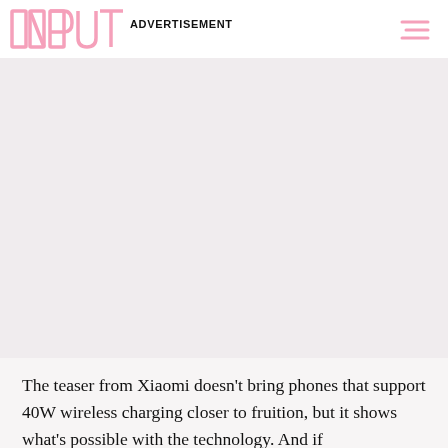INPUT | ADVERTISEMENT
[Figure (other): Advertisement placeholder area — large blank pinkish-grey rectangular region]
The teaser from Xiaomi doesn't bring phones that support 40W wireless charging closer to fruition, but it shows what's possible with the technology. And if